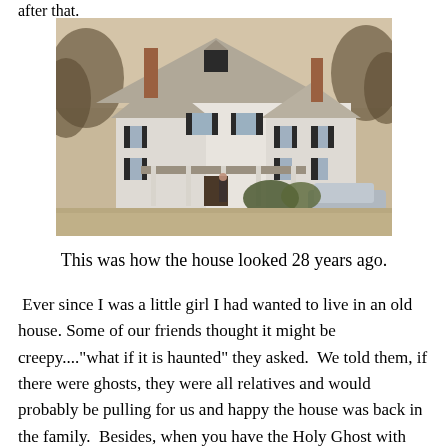after that.
[Figure (photo): Vintage photograph of a large white two-story house with black shutters, a wraparound porch, gabled roof with dormers, two chimneys, a person standing in front, and a car parked to the right. Taken in winter with bare trees visible.]
This was how the house looked 28 years ago.
Ever since I was a little girl I had wanted to live in an old house. Some of our friends thought it might be creepy...."what if it is haunted" they asked.  We told them, if there were ghosts, they were all relatives and would probably be pulling for us and happy the house was back in the family.  Besides, when you have the Holy Ghost with